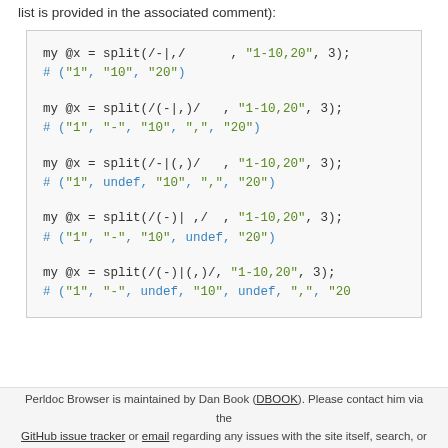list is provided in the associated comment):
my @x = split(/-|,/      , "1-10,20", 3);
# ("1", "10", "20")

my @x = split(/(-|,)/   , "1-10,20", 3);
# ("1", "-", "10", ",", "20")

my @x = split(/-|(,)/   , "1-10,20", 3);
# ("1", undef, "10", ",", "20")

my @x = split(/(-)| ,/  , "1-10,20", 3);
# ("1", "-", "10", undef, "20")

my @x = split(/(-)|( ,)/, "1-10,20", 3);
# ("1", "-", undef, "10", undef, ",", "20")
Perldoc Browser is maintained by Dan Book (DBOOK). Please contact him via the GitHub issue tracker or email regarding any issues with the site itself, search, or